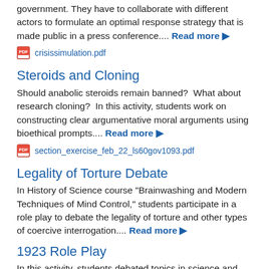government. They have to collaborate with different actors to formulate an optimal response strategy that is made public in a press conference.... Read more ▶
crisissimulation.pdf
Steroids and Cloning
Should anabolic steroids remain banned?  What about research cloning?  In this activity, students work on constructing clear argumentative moral arguments using bioethical prompts.... Read more ▶
section_exercise_feb_22_ls60gov1093.pdf
Legality of Torture Debate
In History of Science course "Brainwashing and Modern Techniques of Mind Control," students participate in a role play to debate the legality of torture and other types of coercive interrogation.... Read more ▶
1923 Role Play
In this activity, students debated topics in science and